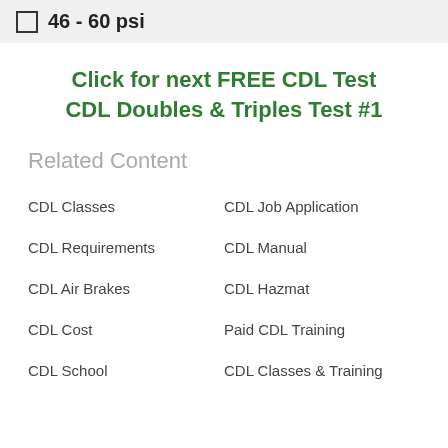46 - 60 psi
Click for next FREE CDL Test CDL Doubles & Triples Test #1
Related Content
CDL Classes
CDL Job Application
CDL Requirements
CDL Manual
CDL Air Brakes
CDL Hazmat
CDL Cost
Paid CDL Training
CDL School
CDL Classes & Training